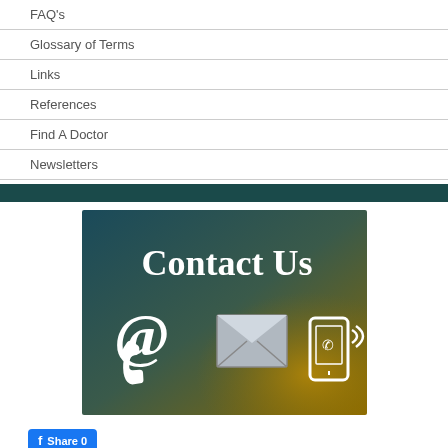FAQ's
Glossary of Terms
Links
References
Find A Doctor
Newsletters
[Figure (illustration): Contact Us banner image with gradient blue-to-gold background showing large white text 'Contact Us' and icons of an @ symbol, phone handset, envelope/mail, and mobile phone with signal waves]
Share 0